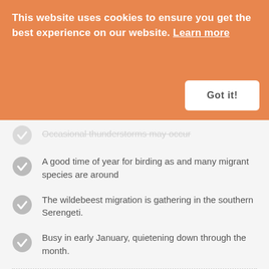This website uses cookies to ensure you get the best experience on our website. Learn more
Got it!
Occasional thunderstorms may occur
A good time of year for birding as and many migrant species are around
The wildebeest migration is gathering in the southern Serengeti.
Busy in early January, quietening down through the month.
OUR VIEW
[Figure (other): Star rating widget showing 3 out of 5 orange stars and 2 grey stars]